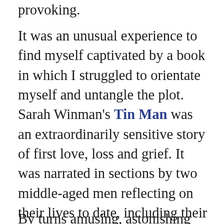provoking.
It was an unusual experience to find myself captivated by a book in which I struggled to orientate myself and untangle the plot. Sarah Winman's Tin Man was an extraordinarily sensitive story of first love, loss and grief. It was narrated in sections by two middle-aged men reflecting on their lives to date, including their childhood friendship and teenage love for one another. I was completely taken in by the depth of the emotional insight and the delicate treatment of sexual identity, so much so that I didn't really care that I struggled to follow the wider structure of the plot.
By turns amusing, astonishing and terrifying,